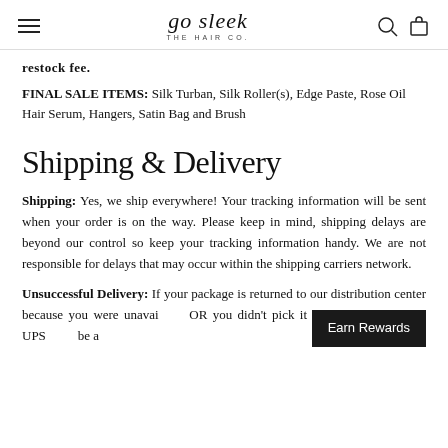go sleek THE HAIR CO.
restock fee.
FINAL SALE ITEMS: Silk Turban, Silk Roller(s), Edge Paste, Rose Oil Hair Serum, Hangers, Satin Bag and Brush
Shipping & Delivery
Shipping: Yes, we ship everywhere! Your tracking information will be sent when your order is on the way. Please keep in mind, shipping delays are beyond our control so keep your tracking information handy. We are not responsible for delays that may occur within the shipping carriers network.
Unsuccessful Delivery: If your package is returned to our distribution center because you were unavailable OR you didn't pick it up from your nearby UPS be a